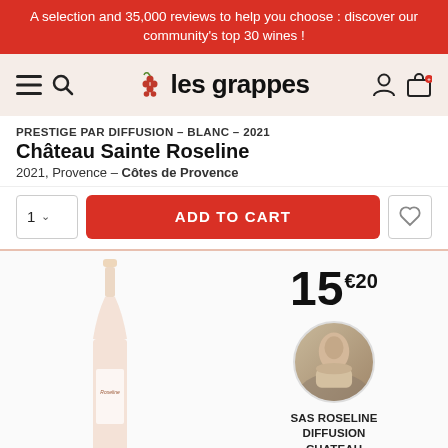A selection and 35,000 reviews to help you choose : discover our community's top 30 wines !
[Figure (screenshot): Les Grappes website navigation bar with hamburger menu, search icon, grape logo and site name 'les grappes', user account and cart icons]
PRESTIGE PAR DIFFUSION – BLANC – 2021
Château Sainte Roseline
2021, Provence – Côtes de Provence
1  ADD TO CART
15€20
[Figure (photo): A rosé wine bottle (Château Sainte Roseline) with pale pink color]
[Figure (photo): Circular portrait photo of a person outdoors for producer SAS Roseline Diffusion Chateau]
SAS ROSELINE DIFFUSION CHATEAU